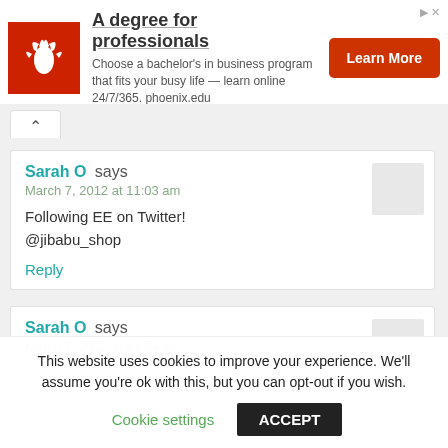[Figure (infographic): University of Phoenix advertisement banner with red logo (phoenix bird), headline 'A degree for professionals', body text, and Learn More button]
Following EE on Twitter!
@jibabu_shop
Sarah O says
March 7, 2012 at 11:03 am
Reply
Sarah O says
March 7, 2012 at 11:04 am
This website uses cookies to improve your experience. We'll assume you're ok with this, but you can opt-out if you wish.